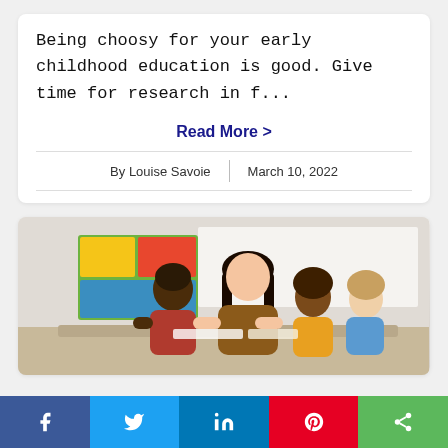Being choosy for your early childhood education is good. Give time for research in f...
Read More >
By Louise Savoie | March 10, 2022
[Figure (photo): A teacher sitting with three young children, appearing to read or work on something together in a classroom setting with colorful decorations in the background.]
f  (twitter bird)  in  (pinterest logo)  (share icon)